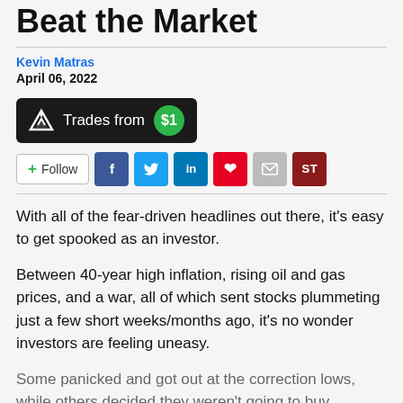Beat the Market
Kevin Matras
April 06, 2022
[Figure (infographic): Dark banner ad showing a triangle logo with 'Trades from $1' text and a green circular badge with '$1']
[Figure (infographic): Social sharing row with Follow button, Facebook, Twitter, LinkedIn, Pinterest, Email, and ST buttons]
With all of the fear-driven headlines out there, it's easy to get spooked as an investor.
Between 40-year high inflation, rising oil and gas prices, and a war, all of which sent stocks plummeting just a few short weeks/months ago, it's no wonder investors are feeling uneasy.
Some panicked and got out at the correction lows, while others decided they weren't going to buy